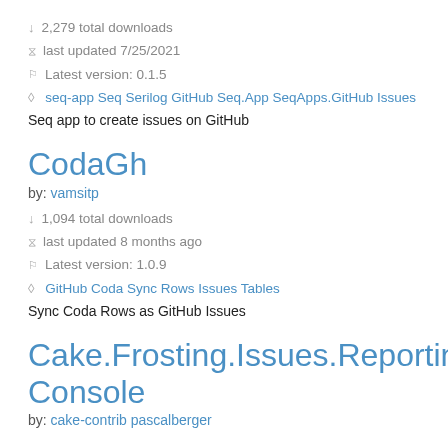↓ 2,279 total downloads
last updated 7/25/2021
Latest version: 0.1.5
seq-app Seq Serilog GitHub Seq.App SeqApps.GitHub Issues
Seq app to create issues on GitHub
CodaGh
by: vamsitp
↓ 1,094 total downloads
last updated 8 months ago
Latest version: 1.0.9
GitHub Coda Sync Rows Issues Tables
Sync Coda Rows as GitHub Issues
Cake.Frosting.Issues.Reporting.Console
by: cake-contrib pascalberger